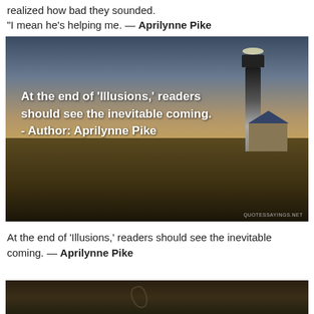realized how bad they sounded.
"I mean he's helping me. — Aprilynne Pike
[Figure (photo): Lighthouse at dusk/sunset with grass in the foreground. Overlaid text reads: At the end of 'Illusions,' readers should see the inevitable coming. - Author: Aprilynne Pike. Watermark: QUOTESSAYINGS.NET]
At the end of 'Illusions,' readers should see the inevitable coming. — Aprilynne Pike
[Figure (photo): Dark sandy ground with footprints, bottom portion of image]